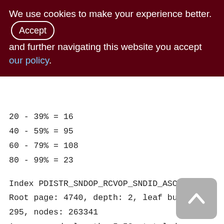We use cookies to make your experience better. By accepting and further navigating this website you accept our policy.
20 - 39% = 16
40 - 59% = 95
60 - 79% = 108
80 - 99% = 23
Index PDISTR_SNDOP_RCVOP_SNDID_ASC (2)
Root page: 4740, depth: 2, leaf buckets: 295, nodes: 263341
Average node length: 5.58, total dup: 236705, max dup: 69
Average key length: 2.98, compression ratio: 7.38
Average prefix length: 21.12, average data
[Figure (other): Back to top arrow button, grey rounded square with upward chevron]